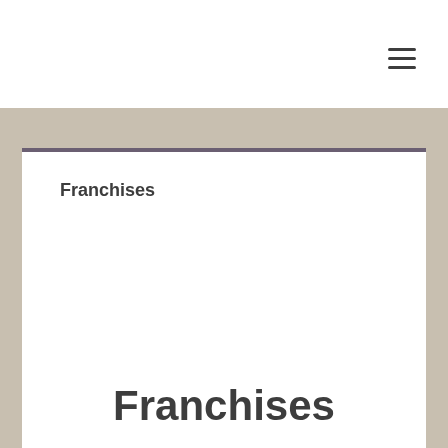[Figure (other): Hamburger menu icon (three horizontal lines) in the top-right corner of a white navigation bar]
Franchises
Franchises